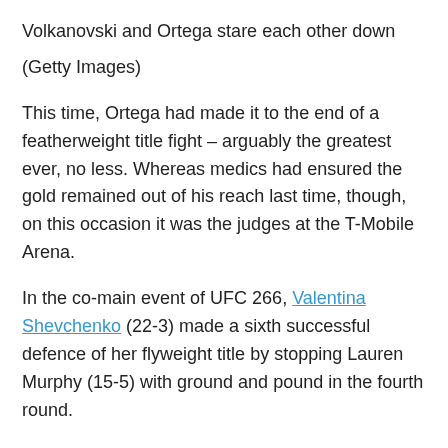Volkanovski and Ortega stare each other down
(Getty Images)
This time, Ortega had made it to the end of a featherweight title fight – arguably the greatest ever, no less. Whereas medics had ensured the gold remained out of his reach last time, though, on this occasion it was the judges at the T-Mobile Arena.
In the co-main event of UFC 266, Valentina Shevchenko (22-3) made a sixth successful defence of her flyweight title by stopping Lauren Murphy (15-5) with ground and pound in the fourth round.
Prior to that, MMA icon Nick Diaz – older brother of Nate – had made his return to the sport after six years away. Seventeen years after his welterweight bout against Robbie Lawler, Diaz (26-10, 2 NC) took on his fellow Californian (29-15) in a middleweight rematch. Lawler, 39, won the fight via third-round TKO, with the 38-